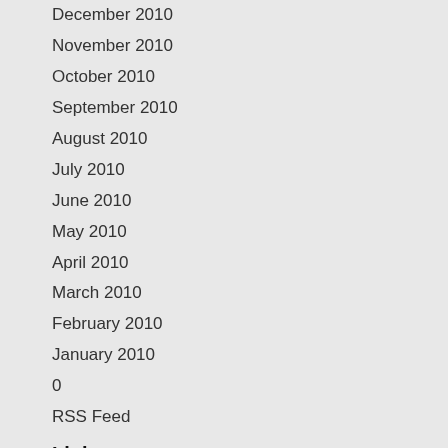December 2010
November 2010
October 2010
September 2010
August 2010
July 2010
June 2010
May 2010
April 2010
March 2010
February 2010
January 2010
0
RSS Feed
Links
Alex Hiam -writer, teacher, artist
Becker Nutrition
Development Blog
Dick Bolles Webinar
Documentation
Marketing for professionals